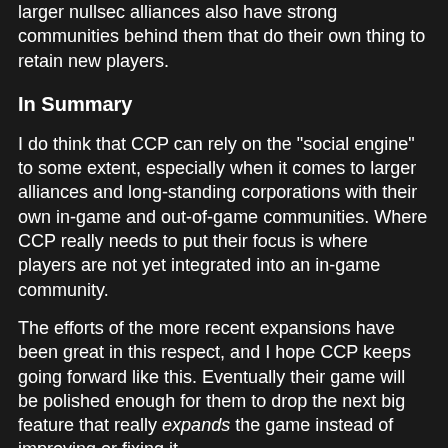larger nullsec alliances also have strong communities behind them that do their own thing to retain new players.
In Summary
I do think that CCP can rely on the "social engine" to some extent, especially when it comes to larger alliances and long-standing corporations with their own in-game and out-of-game communities. Where CCP really needs to put their focus is where players are not yet integrated into an in-game community.
The efforts of the more recent expansions have been great in this respect, and I hope CCP keeps going forward like this. Eventually their game will be polished enough for them to drop the next big feature that really expands the game instead of improving or fixing it.
However, for a player to keep on playing it is very important that they stay long enough to become a witness to positive change, and to be able to trust that it will come. That is the